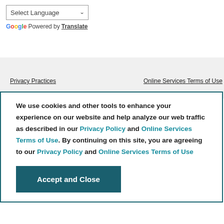[Figure (screenshot): Google Translate widget: dropdown select box labeled 'Select Language' with a chevron arrow, and below it the Google logo with colored letters followed by 'Powered by' and a bold underlined 'Translate' link.]
Privacy Practices   Online Services Terms of Use
We use cookies and other tools to enhance your experience on our website and help analyze our web traffic as described in our Privacy Policy and Online Services Terms of Use. By continuing on this site, you are agreeing to our Privacy Policy and Online Services Terms of Use
Accept and Close